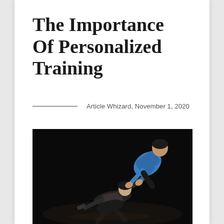The Importance Of Personalized Training
Article Whizard, November 1, 2020
[Figure (photo): A personal trainer in a blue shirt assists a woman in black athletic wear doing dumbbell exercises on the floor against a dark background.]